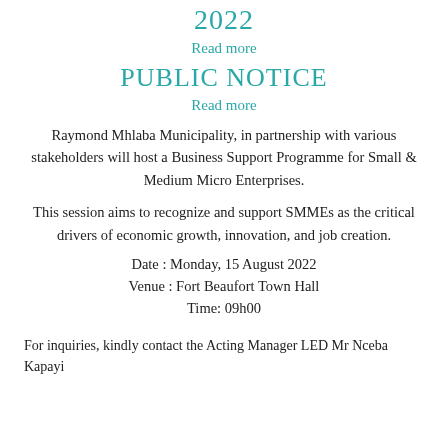2022
Read more
PUBLIC NOTICE
Read more
Raymond Mhlaba Municipality, in partnership with various stakeholders will host a Business Support Programme for Small & Medium Micro Enterprises.
This session aims to recognize and support SMMEs as the critical drivers of economic growth, innovation, and job creation.
Date : Monday, 15 August 2022
Venue : Fort Beaufort Town Hall
Time: 09h00
For inquiries, kindly contact the Acting Manager LED Mr Nceba Kapayi